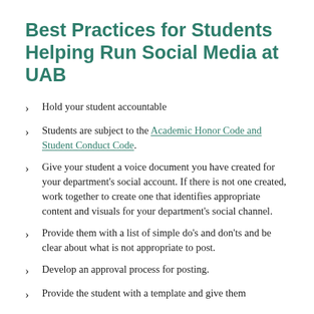Best Practices for Students Helping Run Social Media at UAB
Hold your student accountable
Students are subject to the Academic Honor Code and Student Conduct Code.
Give your student a voice document you have created for your department's social account. If there is not one created, work together to create one that identifies appropriate content and visuals for your department's social channel.
Provide them with a list of simple do's and don'ts and be clear about what is not appropriate to post.
Develop an approval process for posting.
Provide the student with a template and give them